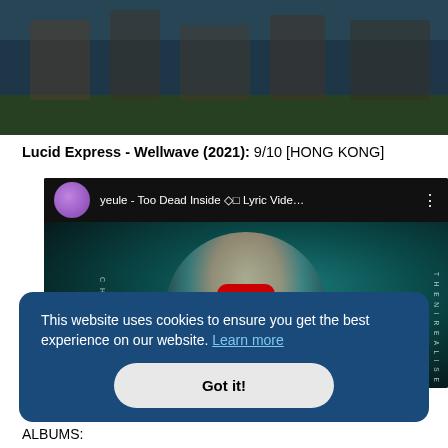[Figure (photo): Dark banner image showing people silhouetted against a blue-green background]
Lucid Express - Wellwave (2021): 9/10 [HONG KONG]
[Figure (screenshot): YouTube video embed showing 'yeule - Too Dead Inside ◇□ Lyric Vide...' with play button, dark background with person with teal hair]
This website uses cookies to ensure you get the best experience on our website. Learn more
Got it!
ALBUMS: